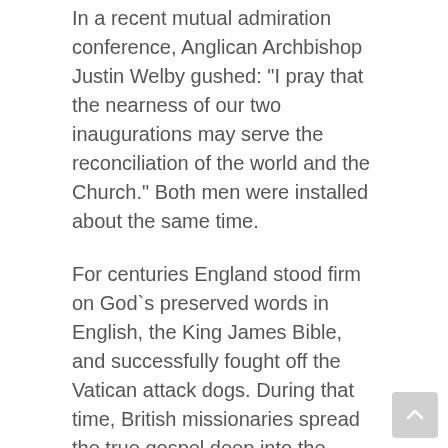In a recent mutual admiration conference, Anglican Archbishop Justin Welby gushed: "I pray that the nearness of our two inaugurations may serve the reconciliation of the world and the Church." Both men were installed about the same time.
For centuries England stood firm on God`s preserved words in English, the King James Bible, and successfully fought off the Vatican attack dogs. During that time, British missionaries spread the true gospel deep into the heart of pagan lands. Her navy policed the seas and "the sun never set on the British empire." How far she has fallen to this groveling at the feet of the enemy, all for the sake of "unity."
As for the Eastern and Russian Orthodox, little differs between Rome and Constantinople. Both rely on